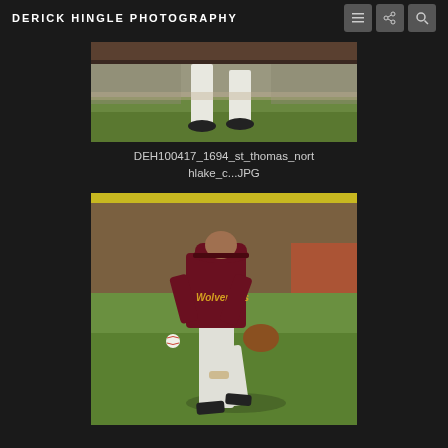DERICK HINGLE PHOTOGRAPHY
[Figure (photo): Baseball photo cropped showing player legs/feet in white pants on a grass field, partial view]
DEH100417_1694_st_thomas_northlake_c...JPG
[Figure (photo): Baseball player in maroon/dark red jersey and white pants, wearing a cap, holding a baseball glove, standing on a grass outfield with a brown fence/banner behind]